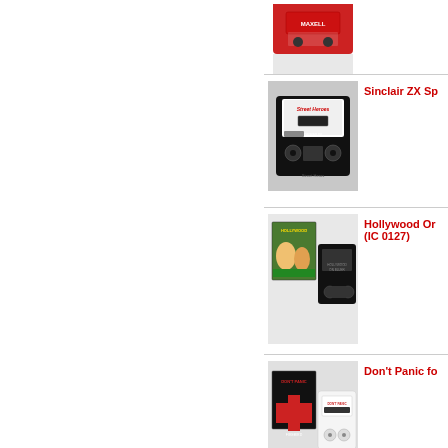[Figure (photo): Partial view of a red cassette tape, cropped at top of page]
[Figure (photo): Black cassette tape labeled 'Street Heros' on grey background]
Sinclair ZX Sp...
[Figure (photo): Hollywood Or... (IC 0127) - cassette game with cover art showing animated characters and a black cassette tape]
Hollywood Or... (IC 0127)
[Figure (photo): Don't Panic for... - cassette game with Firebird label cover art and white cassette tape]
Don't Panic fo...